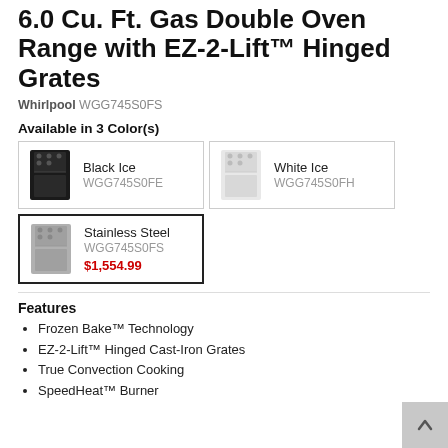6.0 Cu. Ft. Gas Double Oven Range with EZ-2-Lift™ Hinged Grates
Whirlpool WGG745S0FS
Available in 3 Color(s)
Black Ice WGG745S0FE
White Ice WGG745S0FH
Stainless Steel WGG745S0FS $1,554.99
Features
Frozen Bake™ Technology
EZ-2-Lift™ Hinged Cast-Iron Grates
True Convection Cooking
SpeedHeat™ Burner